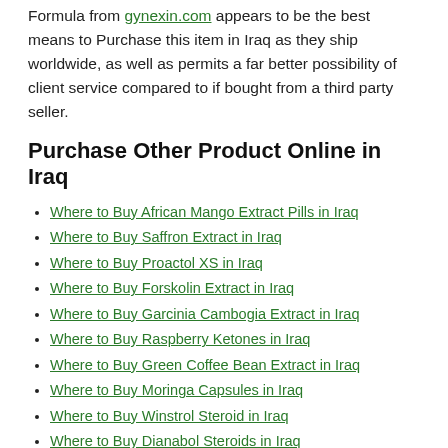Formula from gynexin.com appears to be the best means to Purchase this item in Iraq as they ship worldwide, as well as permits a far better possibility of client service compared to if bought from a third party seller.
Purchase Other Product Online in Iraq
Where to Buy African Mango Extract Pills in Iraq
Where to Buy Saffron Extract in Iraq
Where to Buy Proactol XS in Iraq
Where to Buy Forskolin Extract in Iraq
Where to Buy Garcinia Cambogia Extract in Iraq
Where to Buy Raspberry Ketones in Iraq
Where to Buy Green Coffee Bean Extract in Iraq
Where to Buy Moringa Capsules in Iraq
Where to Buy Winstrol Steroid in Iraq
Where to Buy Dianabol Steroids in Iraq
Where to Buy Anavar Steroids in Iraq
Where to Buy Clenbuterol Steroids in Iraq